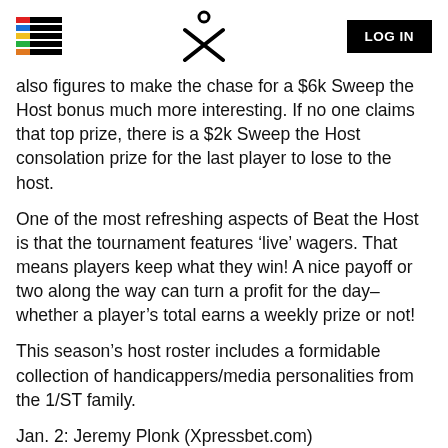LOG IN
also figures to make the chase for a $6k Sweep the Host bonus much more interesting. If no one claims that top prize, there is a $2k Sweep the Host consolation prize for the last player to lose to the host.
One of the most refreshing aspects of Beat the Host is that the tournament features ‘live’ wagers. That means players keep what they win! A nice payoff or two along the way can turn a profit for the day–whether a player’s total earns a weekly prize or not!
This season’s host roster includes a formidable collection of handicappers/media personalities from the 1/ST family.
Jan. 2: Jeremy Plonk (Xpressbet.com)